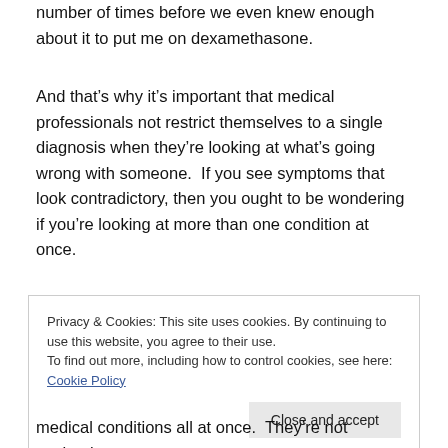number of times before we even knew enough about it to put me on dexamethasone.
And that's why it's important that medical professionals not restrict themselves to a single diagnosis when they're looking at what's going wrong with someone.  If you see symptoms that look contradictory, then you ought to be wondering if you're looking at more than one condition at once.
Privacy & Cookies: This site uses cookies. By continuing to use this website, you agree to their use.
To find out more, including how to control cookies, see here: Cookie Policy
medical conditions all at once.  They're not textbook